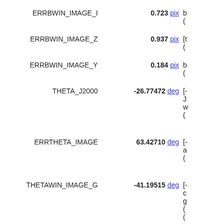| Name | Value | Description |
| --- | --- | --- |
| ERRBWIN_IMAGE_I | 0.723 pix | b...(... |
| ERRBWIN_IMAGE_Z | 0.937 pix | [t...( |
| ERRBWIN_IMAGE_Y | 0.184 pix | b...( |
| THETA_J2000 | -26.77472 deg | [-...J...w...( |
| ERRTHETA_IMAGE | 63.42710 deg | [-...a...( |
| THETAWIN_IMAGE_G | -41.19515 deg | [-...c...g...(...( |
| THETAWIN_IMAGE_R | -28.56554 deg | [-...c...g...( |